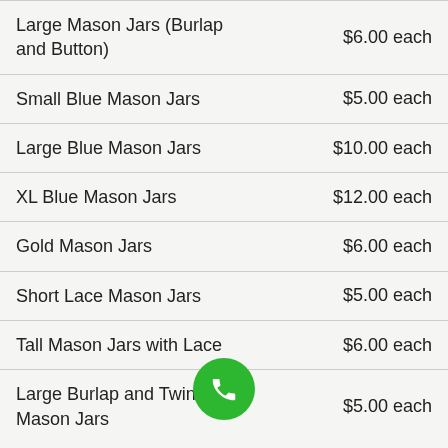| Item | Price |
| --- | --- |
| Large Mason Jars (Burlap and Button) | $6.00 each |
| Small Blue Mason Jars | $5.00 each |
| Large Blue Mason Jars | $10.00 each |
| XL Blue Mason Jars | $12.00 each |
| Gold Mason Jars | $6.00 each |
| Short Lace Mason Jars | $5.00 each |
| Tall Mason Jars with Lace | $6.00 each |
| Large Burlap and Twine Mason Jars | $5.00 each |
[Figure (other): Green phone/call button overlay at bottom center of page]